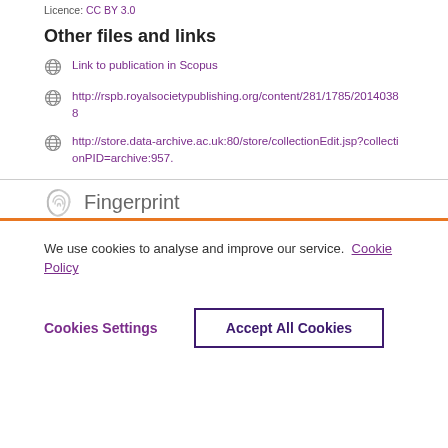Licence: CC BY 3.0
Other files and links
Link to publication in Scopus
http://rspb.royalsocietypublishing.org/content/281/1785/20140388
http://store.data-archive.ac.uk:80/store/collectionEdit.jsp?collectionPID=archive:957.
Fingerprint
We use cookies to analyse and improve our service. Cookie Policy
Cookies Settings
Accept All Cookies